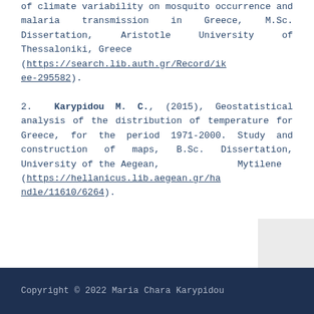of climate variability on mosquito occurrence and malaria transmission in Greece, M.Sc. Dissertation, Aristotle University of Thessaloniki, Greece (https://search.lib.auth.gr/Record/ikee-295582).
2. Karypidou M. C., (2015), Geostatistical analysis of the distribution of temperature for Greece, for the period 1971-2000. Study and construction of maps, B.Sc. Dissertation, University of the Aegean, Mytilene (https://hellanicus.lib.aegean.gr/handle/11610/6264).
Copyright © 2022 Maria Chara Karypidou